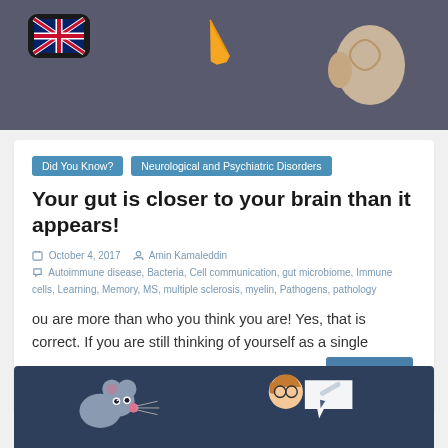[Figure (illustration): Dark grey background illustration showing a UK flag icon (app icon, black rounded square) on the left and a decorative brain/figure illustration on the right]
Did You Know?
Neurological and Psychiatric Disorders
Your gut is closer to your brain than it appears!
October 4, 2017   Amin Kamaleddin   Autoimmune disease, Bacteria, Cell communication, gut microbiome, Immune cells, Learning, Memory, MS, multiple sclerosis, myelin, Pathogens, pathology
ou are more than who you think you are! Yes, that is correct. If you are still thinking of yourself as a single intelligent organism, then think again! I am...
Read more
[Figure (illustration): Dark blue background illustration showing a cartoon mouse on the left and a cartoon scientist/person with speech bubble on the right]